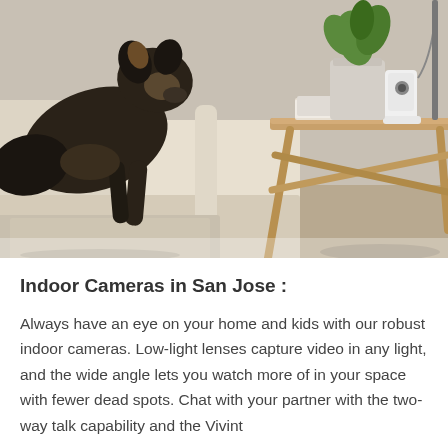[Figure (photo): A dog standing on or near a light-colored armchair/sofa, with a wooden side table in the background on which sits a small white indoor security camera, books, and a plant.]
Indoor Cameras in San Jose :
Always have an eye on your home and kids with our robust indoor cameras. Low-light lenses capture video in any light, and the wide angle lets you watch more of in your space with fewer dead spots. Chat with your partner with the two-way talk capability and the Vivint